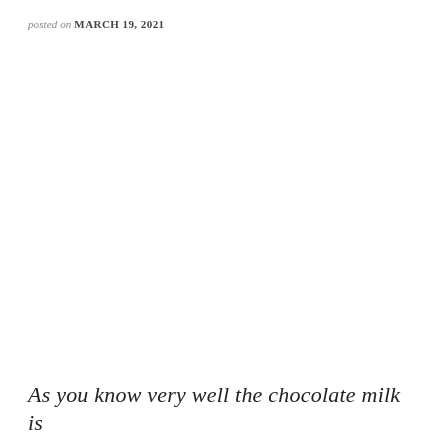posted on MARCH 19, 2021
As you know very well the chocolate milk is